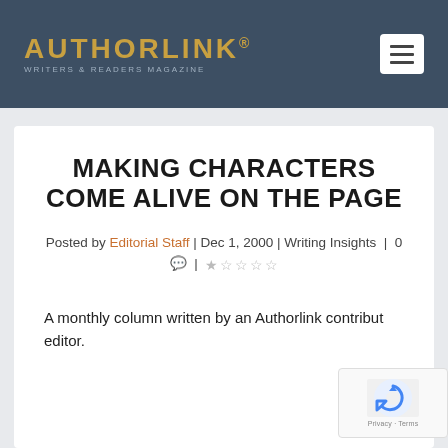AUTHORLINK® WRITERS & READERS MAGAZINE
MAKING CHARACTERS COME ALIVE ON THE PAGE
Posted by Editorial Staff | Dec 1, 2000 | Writing Insights | 0 💬 | ★☆☆☆☆
A monthly column written by an Authorlink contributing editor.